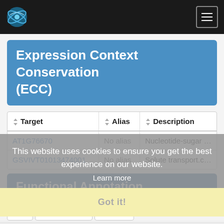CoNekT — Navigation bar with logo and menu button
Expression Context Conservation (ECC)
| Target | Alias | Description |
| --- | --- | --- |
| AT1G76670 | No alias | Nucleotide-sugar transporter f… |
| GSVIVT01013474001 | No alias | Solute transport.carrier-media… |
This website uses cookies to ensure you get the best experience on our website. Learn more
Functional Annotation
Got it!
GO   Predicted GO   InterPro
CoNekT   About   Contact   Disclaimer   Privacy policy